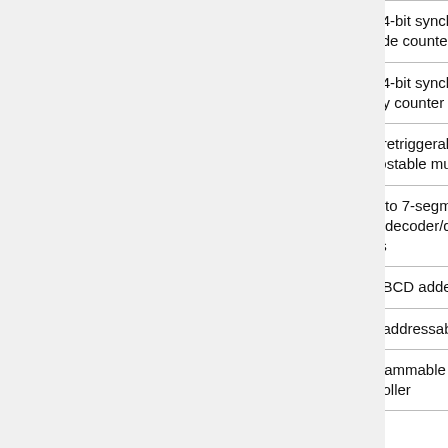| Part Number | Count | Description |
| --- | --- | --- |
| 74x4518 | 2 | dual 4-bit synchronous decade counter |
| 74x4520 | 2 | dual 4-bit synchronous binary counter |
| 74x4538 | 2 | dual retriggerable monostable multivibrator |
| 74x4543 | 1 | BCD to 7-segment latch/decoder/driver for LCDs |
| 74x4560 | 1 | 4-bit BCD adder |
| 74x4724 | 1 | 8-bit addressable latch |
| 74x4764 | 1 | programmable dRAM controller |
| 74x4799 | 1 | Timer for NiCd and NiMH chargers |
| 74x4851 | 1 | 8-channel analog multiplexer/demultiplexer |
| 74x4852 | 2 | dual 4-channel analog multiplexer/demultiplexer |
| 74x5074 | 2 | dual positive edge-triggered D-type flip-flop (m...) |